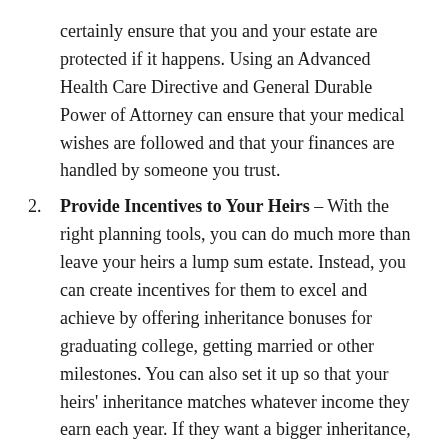certainly ensure that you and your estate are protected if it happens. Using an Advanced Health Care Directive and General Durable Power of Attorney can ensure that your medical wishes are followed and that your finances are handled by someone you trust.
2. Provide Incentives to Your Heirs – With the right planning tools, you can do much more than leave your heirs a lump sum estate. Instead, you can create incentives for them to excel and achieve by offering inheritance bonuses for graduating college, getting married or other milestones. You can also set it up so that your heirs' inheritance matches whatever income they earn each year. If they want a bigger inheritance, they must find a way to earn a better living.
3. Avoid Probate – Yes, with the right tools, your